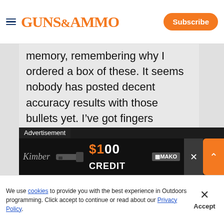GUNS&AMMO | Subscribe
memory, remembering why I ordered a box of these. It seems nobody has posted decent accuracy results with those bullets yet. I’ve got fingers crossed bullsi’s TG loads will be good. If the flush seated round is 4.2 grains, that might be on the warmer side with TG. But just going
[Figure (other): Advertisement banner: '$100 CREDIT @MAKO' with gun image and cursive logo on dark background]
We use cookies to provide you with the best experience in Outdoors programming. Click accept to continue or read about our Privacy Policy.